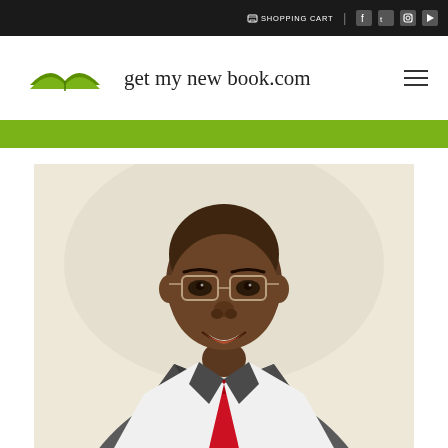SHOPPING CART | social icons (Facebook, Twitter, Instagram, YouTube)
[Figure (logo): Open book logo icon in green]
get my new book.com
[Figure (photo): Professional headshot of a man in a grey suit with a red tie and glasses, smiling, against a light beige background]